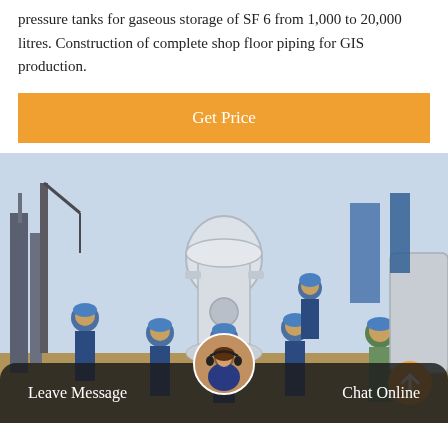pressure tanks for gaseous storage of SF 6 from 1,000 to 20,000 litres. Construction of complete shop floor piping for GIS production.
Get Price
[Figure (photo): Workers in blue hard hats and coveralls working on large industrial GIS equipment at an outdoor substation site. A large white cylindrical SF6 gas insulated switchgear component is prominent in the center. Industrial cranes and structures visible in background.]
Leave Message
Chat Online